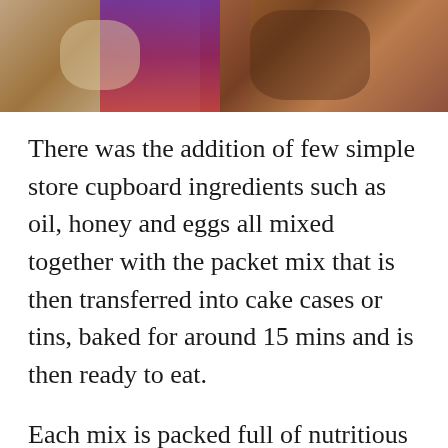[Figure (photo): Cropped photo showing baking ingredients or brownie mix in a bowl, with purple packaging visible and chocolatey mixture.]
There was the addition of few simple store cupboard ingredients such as oil, honey and eggs all mixed together with the packet mix that is then transferred into cake cases or tins, baked for around 15 mins and is then ready to eat.
Each mix is packed full of nutritious ingredients and yummy whole grains whilst leaving all the nasty refined sugars and artificial colours and flavourings out.
The super chocolatey brownies where a great